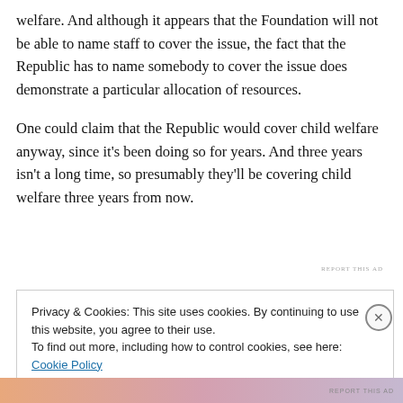welfare. And although it appears that the Foundation will not be able to name staff to cover the issue, the fact that the Republic has to name somebody to cover the issue does demonstrate a particular allocation of resources.
One could claim that the Republic would cover child welfare anyway, since it's been doing so for years. And three years isn't a long time, so presumably they'll be covering child welfare three years from now.
Privacy & Cookies: This site uses cookies. By continuing to use this website, you agree to their use.
To find out more, including how to control cookies, see here: Cookie Policy